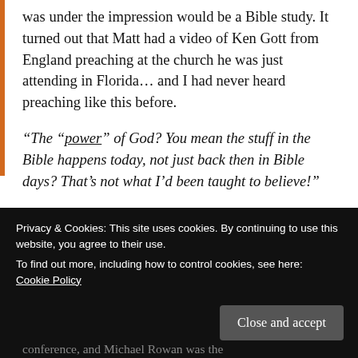was under the impression would be a Bible study. It turned out that Matt had a video of Ken Gott from England preaching at the church he was just attending in Florida… and I had never heard preaching like this before.
“The “power” of God? You mean the stuff in the Bible happens today, not just back then in Bible days? That’s not what I’d been taught to believe!”
The preacher had all these wild testimonies he
Privacy & Cookies: This site uses cookies. By continuing to use this website, you agree to their use.
To find out more, including how to control cookies, see here: Cookie Policy
Close and accept
conference, and Michael Rowan was the